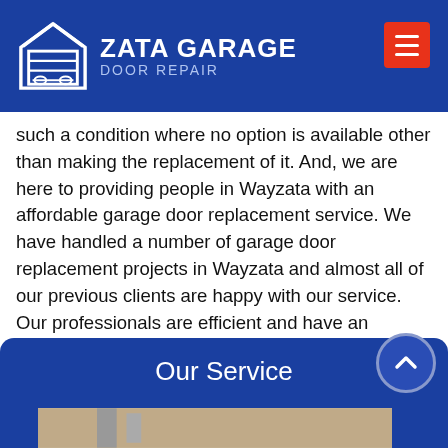[Figure (logo): Zata Garage Door Repair logo with house/garage icon on blue background, hamburger menu button in red]
such a condition where no option is available other than making the replacement of it. And, we are here to providing people in Wayzata with an affordable garage door replacement service. We have handled a number of garage door replacement projects in Wayzata and almost all of our previous clients are happy with our service. Our professionals are efficient and have an expanded experience in this field. To solve the garage door issues, we provide the best & effective garage door replacement service in Wayzata and its surrounding areas.
Our Service
[Figure (photo): Partial photo of garage door / hands working on garage door, shown at bottom of page]